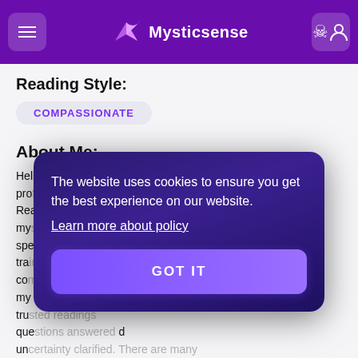Mysticsense
Reading Style:
COMPASSIONATE
About Me:
Hello and thank you so much for clicking on my profile. Reading Style: my special tra... comes... my tru... que... un... reasons to have a psychic reading: maybe you need help clarifying your direction in life because you feel stuck or are fearful of change. Perhaps you have a
The website uses cookies to ensure you get the best experience on our website. Learn more about policy
GOT IT